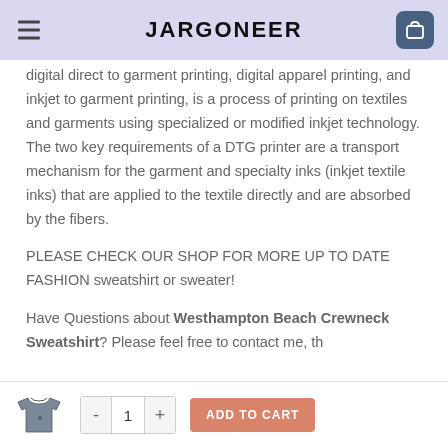JARGONEER
digital direct to garment printing, digital apparel printing, and inkjet to garment printing, is a process of printing on textiles and garments using specialized or modified inkjet technology. The two key requirements of a DTG printer are a transport mechanism for the garment and specialty inks (inkjet textile inks) that are applied to the textile directly and are absorbed by the fibers.
PLEASE CHECK OUR SHOP FOR MORE UP TO DATE FASHION sweatshirt or sweater!
Have Questions about Westhampton Beach Crewneck Sweatshirt? Please feel free to contact me, th... fo... value...